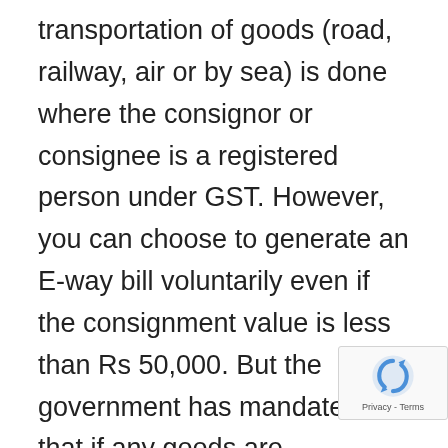transportation of goods (road, railway, air or by sea) is done where the consignor or consignee is a registered person under GST. However, you can choose to generate an E-way bill voluntarily even if the consignment value is less than Rs 50,000. But the government has mandated that if any goods are transported interstate, then it is necessary to generate the e-way bill irrespective of the consignment value.
The government also states that if the consigner or consignee fails to procure the way bill with several goods more than Rs